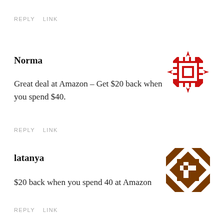REPLY   LINK
Norma
[Figure (illustration): Red decorative square avatar icon with notched corners and dot pattern]
Great deal at Amazon – Get $20 back when you spend $40.
REPLY   LINK
latanya
[Figure (illustration): Brown and white diamond/quilt pattern square avatar icon]
$20 back when you spend 40 at Amazon
REPLY   LINK